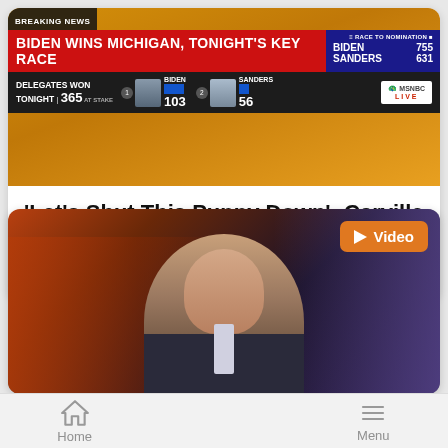[Figure (screenshot): MSNBC breaking news broadcast screenshot showing 'BIDEN WINS MICHIGAN, TONIGHT'S KEY RACE'. Delegates Won Tonight: 365. Biden: 103, Sanders: 56. Race to Nomination: Biden 755, Sanders 631. MSNBC LIVE logo visible.]
‘Let’s Shut This Puppy Down’; Carville Demands End to Primary Race
Curtis Houck
[Figure (screenshot): Video thumbnail showing a male TV anchor in a suit speaking, with a city background set. Orange 'Video' badge with play button in top right corner.]